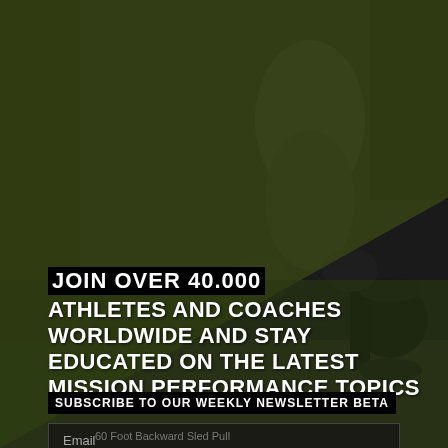[Figure (photo): Dark background photo of an athlete in a gym with weights/barbell, overlaid with a dark olive/green semi-transparent overlay with a diagonal shape]
JOIN OVER 40.000 ATHLETES AND COACHES WORLDWIDE AND STAY EDUCATED ON THE LATEST MISSION PERFORMANCE TOPICS
SUBSCRIBE TO OUR WEEKLY NEWSLETTER BETA
Email
SIGN ME UP
60 Foot Backward Sled Pull